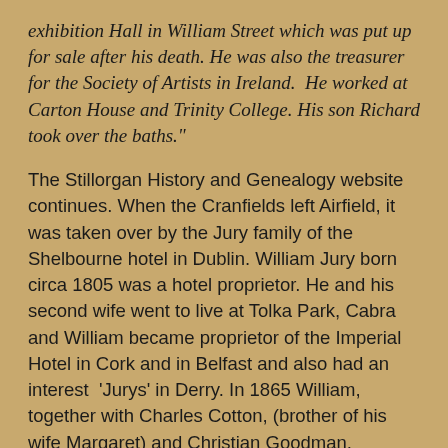exhibition Hall in William Street which was put up for sale after his death. He was also the treasurer for the Society of Artists in Ireland.  He worked at Carton House and Trinity College. His son Richard took over the baths."
The Stillorgan History and Genealogy website continues. When the Cranfields left Airfield, it was taken over by the Jury family of the Shelbourne hotel in Dublin. William Jury born circa 1805 was a hotel proprietor. He and his second wife went to live at Tolka Park, Cabra and William became proprietor of the Imperial Hotel in Cork and in Belfast and also had an interest  'Jurys' in Derry. In 1865 William, together with Charles Cotton, (brother of his wife Margaret) and Christian Goodman, (manager of the Railway Hotel in Killarney) purchased The Shelbourne from the estate of Martin Burke. They closed The Shelbourne in February 1866, purchased additional ground from the Kildare Society, and